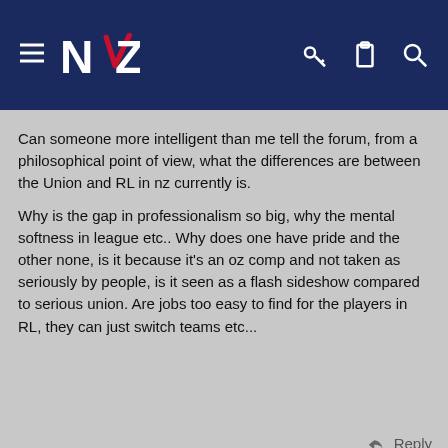[Figure (screenshot): Website header bar with navy blue background, hamburger menu icon, NZ Warriors logo (stylized NZ letters with chevron), and icons for key, clipboard, and search on the right]
Can someone more intelligent than me tell the forum, from a philosophical point of view, what the differences are between the Union and RL in nz currently is.
Why is the gap in professionalism so big, why the mental softness in league etc.. Why does one have pride and the other none, is it because it's an oz comp and not taken as seriously by people, is it seen as a flash sideshow compared to serious union. Are jobs too easy to find for the players in RL, they can just switch teams etc...
↩ Reply
Salatape
[Figure (photo): Avatar of a rugby player in NZ Warriors jersey]
Oops! We ran into some problems.
Cookies are required to use this site. You must accept them to continue using the site.